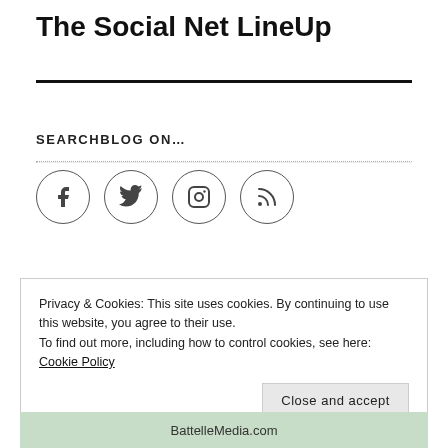The Social Net LineUp
SEARCHBLOG ON…
[Figure (illustration): Four social media icon circles: Facebook, Twitter, Instagram, RSS feed]
Privacy & Cookies: This site uses cookies. By continuing to use this website, you agree to their use.
To find out more, including how to control cookies, see here: Cookie Policy
Close and accept
BattelleMedia.com